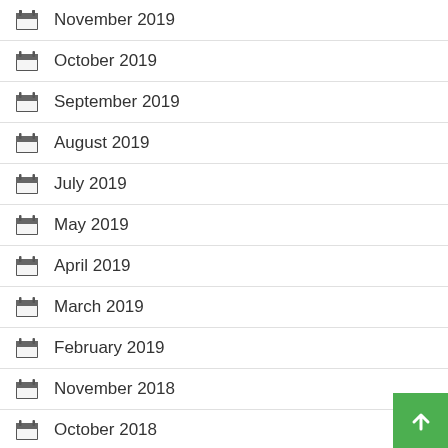November 2019
October 2019
September 2019
August 2019
July 2019
May 2019
April 2019
March 2019
February 2019
November 2018
October 2018
September 2018
July 2018